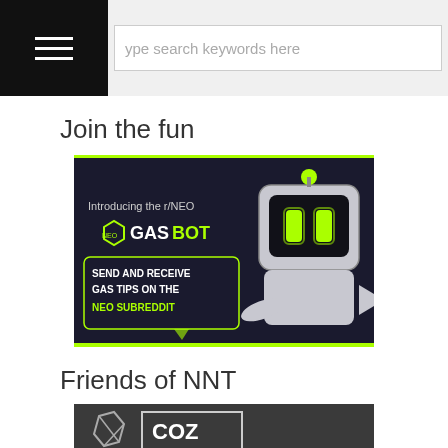type search keywords here
Join the fun
[Figure (illustration): Promotional banner for r/NEO GASBOT - a robot with glowing green eyes and text: Introducing the r/NEO GASBOT, SEND AND RECEIVE GAS TIPS ON THE NEO SUBREDDIT]
Friends of NNT
[Figure (logo): COZ logo banner - dark gray background with COZ branding]